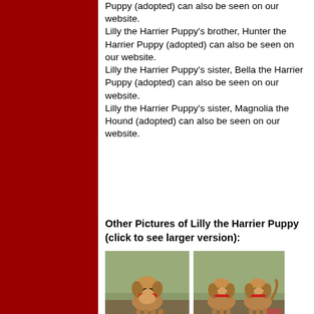[Figure (illustration): Dark red/maroon sidebar on the left portion of the page]
Puppy (adopted) can also be seen on our website. Lilly the Harrier Puppy's brother, Hunter the Harrier Puppy (adopted) can also be seen on our website. Lilly the Harrier Puppy's sister, Bella the Harrier Puppy (adopted) can also be seen on our website. Lilly the Harrier Puppy's sister, Magnolia the Hound (adopted) can also be seen on our website.
Other Pictures of Lilly the Harrier Puppy (click to see larger version):
[Figure (photo): Photo of a brown/tan harrier puppy sitting on grass, facing camera]
[Figure (photo): Photo of two brown/tan harrier puppies standing on grass]